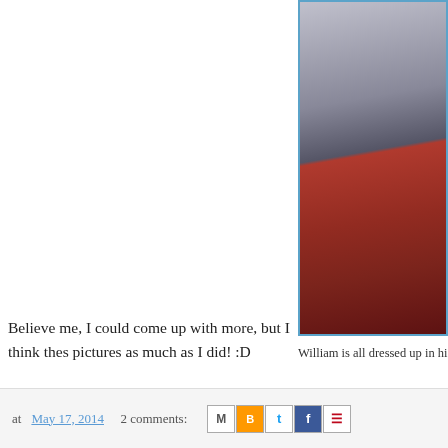[Figure (photo): Photo of William dressed up, showing a person holding something near a red-draped surface, wearing a sparkly/sequined outfit]
William is all dressed up in hi
Believe me, I could come up with more, but I think thes pictures as much as I did! :D
By the way, if you are confused about who's who in thes called "My Family" and there will be pictures and descri enjoyment. :)
at May 17, 2014  2 comments: